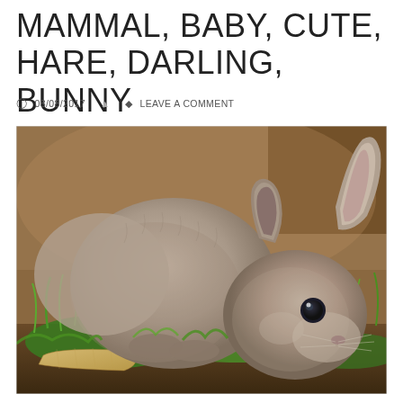MAMMAL, BABY, CUTE, HARE, DARLING, BUNNY
08/08/2017   LEAVE A COMMENT
[Figure (photo): Close-up photograph of a small grey baby rabbit/bunny sitting on green grass and hay, with a piece of bread nearby, looking toward the camera. The rabbit has grey fur, dark eyes, and small ears.]